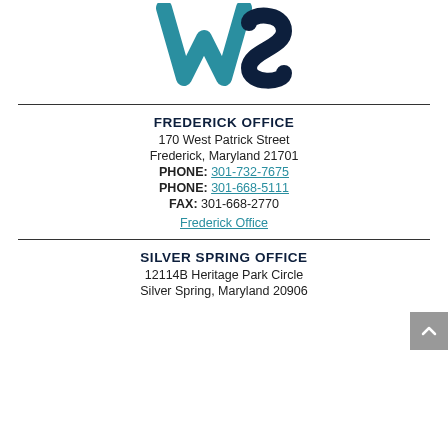[Figure (logo): WS law firm logo in teal and navy blue]
FREDERICK OFFICE
170 West Patrick Street
Frederick, Maryland 21701
PHONE: 301-732-7675
PHONE: 301-668-5111
FAX: 301-668-2770
Frederick Office
SILVER SPRING OFFICE
12114B Heritage Park Circle
Silver Spring, Maryland 20906